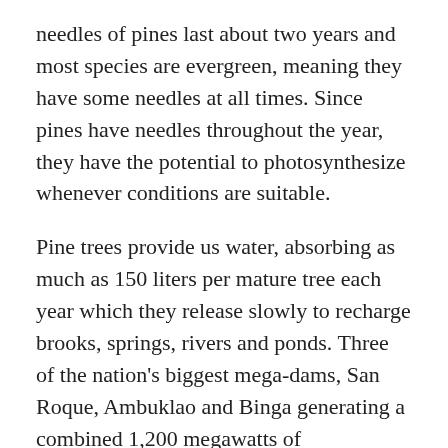needles of pines last about two years and most species are evergreen, meaning they have some needles at all times. Since pines have needles throughout the year, they have the potential to photosynthesize whenever conditions are suitable.
Pine trees provide us water, absorbing as much as 150 liters per mature tree each year which they release slowly to recharge brooks, springs, rivers and ponds. Three of the nation's biggest mega-dams, San Roque, Ambuklao and Binga generating a combined 1,200 megawatts of hydroelectric power—get their water from pine forests of Benguet and Mountain Province.
The pine trees prevent soil erosion and landslides in the region, serving as the main soil cover thereby protecting topsoil loss. The Cordillera region losses